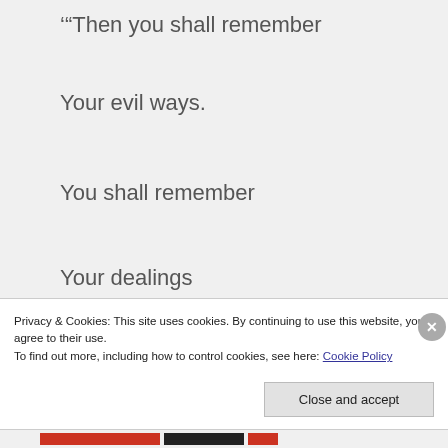'"Then you shall remember
Your evil ways.
You shall remember
Your dealings
That were not good.
You shall loathe yourselves
Privacy & Cookies: This site uses cookies. By continuing to use this website, you agree to their use.
To find out more, including how to control cookies, see here: Cookie Policy
Close and accept